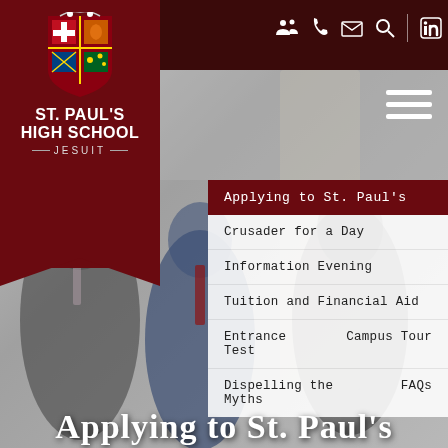[Figure (photo): Three male high school students in formal blazers and ties standing together in a school hallway background, slightly blurred]
St. Paul's High School – Jesuit (logo and navigation bar)
ST. PAUL'S HIGH SCHOOL — JESUIT
Applying to St. Paul's
Crusader for a Day
Information Evening
Tuition and Financial Aid
Entrance Test
Campus Tour
Dispelling the Myths
FAQs
Applying to St. Paul's